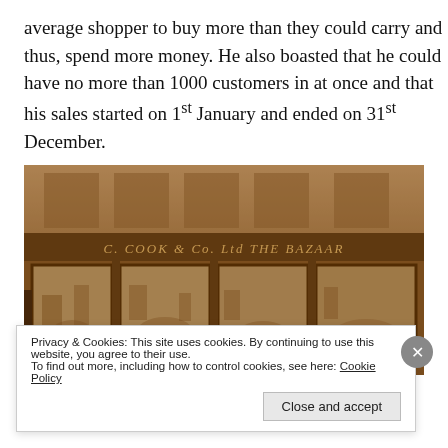average shopper to buy more than they could carry and thus, spend more money. He also boasted that he could have no more than 1000 customers in at once and that his sales started on 1st January and ended on 31st December.
[Figure (photo): Sepia-toned historical photograph of a Victorian-era shop front with the sign 'C. COOK & Co. Ltd THE BAZAAR', showing large display windows filled with merchandise.]
Privacy & Cookies: This site uses cookies. By continuing to use this website, you agree to their use.
To find out more, including how to control cookies, see here: Cookie Policy